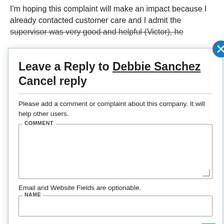I'm hoping this complaint will make an impact because I already contacted customer care and I admit the supervisor was very good and helpful (Victor), he
[Figure (screenshot): Modal dialog 'Leave a Reply to Debbie Sanchez Cancel reply' with a COMMENT textarea and NAME input field. A blue close (X) button is in the top-right corner. A blue downward arrow appears at the bottom-right.]
phone was already purchased and my daughter will kept her phone.
After that. We proceed to get details of my line (ending in